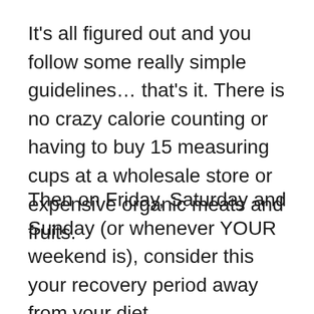It's all figured out and you follow some really simple guidelines... that's it. There is no crazy calorie counting or having to buy 15 measuring cups at a wholesale store or expensive organic meats and fruits.
Then on Friday, Saturday and Sunday (or whenever YOUR weekend is), consider this your recovery period away from your diet.